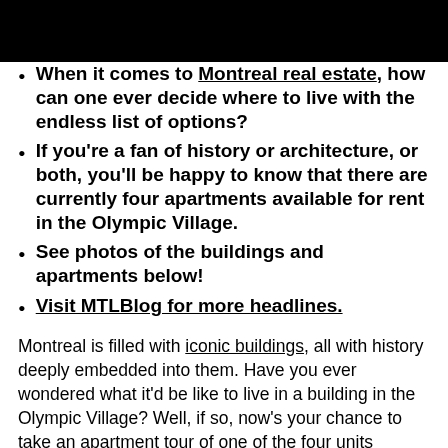When it comes to Montreal real estate, how can one ever decide where to live with the endless list of options?
If you're a fan of history or architecture, or both, you'll be happy to know that there are currently four apartments available for rent in the Olympic Village.
See photos of the buildings and apartments below!
Visit MTLBlog for more headlines.
Montreal is filled with iconic buildings, all with history deeply embedded into them. Have you ever wondered what it'd be like to live in a building in the Olympic Village? Well, if so, now's your chance to take an apartment tour of one of the four units currently available for rent there. I think it's safe to say that this is some prime Montreal real